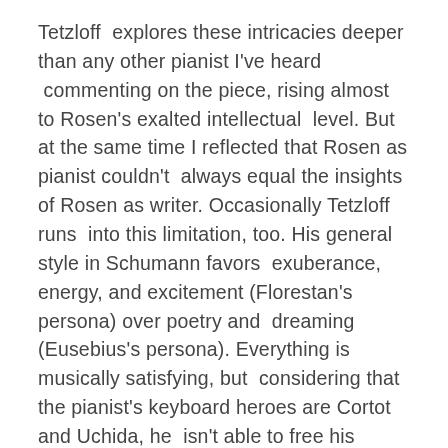Tetzloff  explores these intricacies deeper than any other pianist I've heard  commenting on the piece, rising almost to Rosen's exalted intellectual  level. But at the same time I reflected that Rosen as pianist couldn't  always equal the insights of Rosen as writer. Occasionally Tetzloff runs  into this limitation, too. His general style in Schumann favors  exuberance, energy, and excitement (Florestan's persona) over poetry and  dreaming (Eusebius's persona). Everything is musically satisfying, but  considering that the pianist's keyboard heroes are Cortot and Uchida, he  isn't able to free his imagination quite as much as they do.